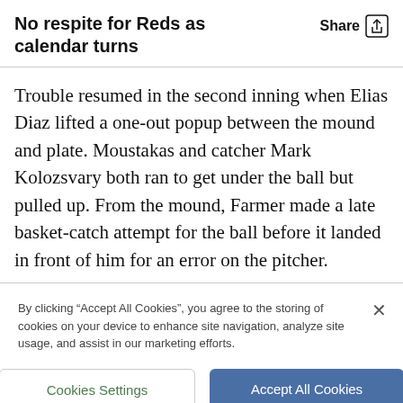No respite for Reds as calendar turns
Trouble resumed in the second inning when Elias Diaz lifted a one-out popup between the mound and plate. Moustakas and catcher Mark Kolozsvary both ran to get under the ball but pulled up. From the mound, Farmer made a late basket-catch attempt for the ball before it landed in front of him for an error on the pitcher.
By clicking “Accept All Cookies”, you agree to the storing of cookies on your device to enhance site navigation, analyze site usage, and assist in our marketing efforts.